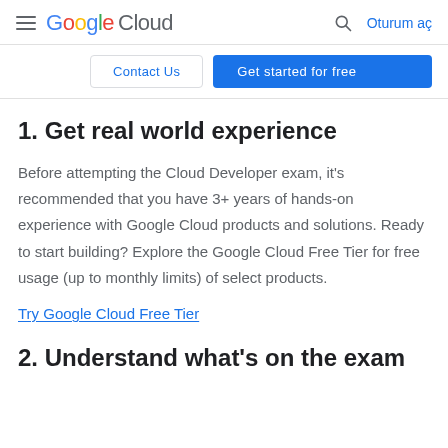Google Cloud — Oturum aç
Contact Us | Get started for free
1. Get real world experience
Before attempting the Cloud Developer exam, it's recommended that you have 3+ years of hands-on experience with Google Cloud products and solutions. Ready to start building? Explore the Google Cloud Free Tier for free usage (up to monthly limits) of select products.
Try Google Cloud Free Tier
2. Understand what's on the exam